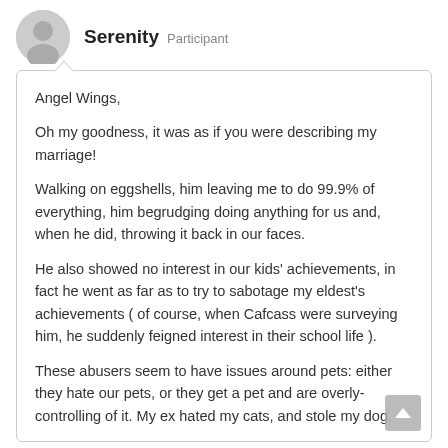Serenity  Participant
Angel Wings,

Oh my goodness, it was as if you were describing my marriage!

Walking on eggshells, him leaving me to do 99.9% of everything, him begrudging doing anything for us and, when he did, throwing it back in our faces.

He also showed no interest in our kids' achievements, in fact he went as far as to try to sabotage my eldest's achievements ( of course, when Cafcass were surveying him, he suddenly feigned interest in their school life ).

These abusers seem to have issues around pets: either they hate our pets, or they get a pet and are overly-controlling of it. My ex hated my cats, and stole my dog.